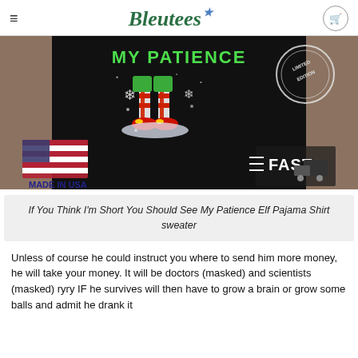Bleutees
[Figure (photo): Product photo of a person wearing a black Christmas Elf Pajama shirt with text 'My Patience', elf feet with candy cane legs, snowflakes. Overlays include US flag stamp with 'MADE IN USA' text and a fast shipping truck graphic.]
If You Think I'm Short You Should See My Patience Elf Pajama Shirt sweater
Unless of course he could instruct you where to send him more money, he will take your money. It will be doctors (masked) and scientists (masked) ryry IF he survives will then have to grow a brain or grow some balls and admit he drank it